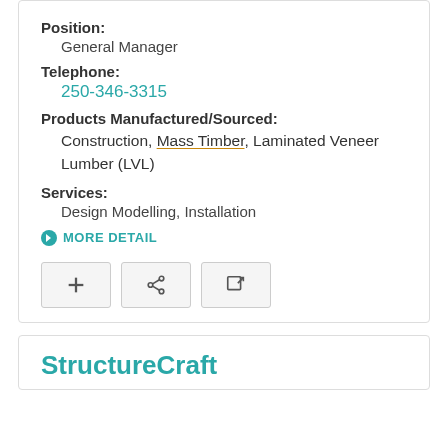Position:
General Manager
Telephone:
250-346-3315
Products Manufactured/Sourced:
Construction, Mass Timber, Laminated Veneer Lumber (LVL)
Services:
Design Modelling, Installation
MORE DETAIL
StructureCraft